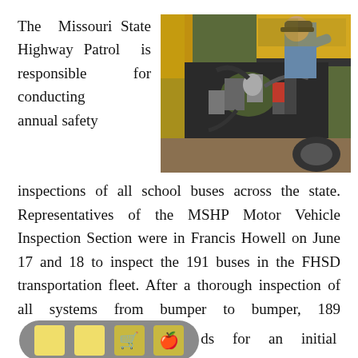The Missouri State Highway Patrol is responsible for conducting annual safety
[Figure (photo): A mechanic inspecting the engine of a school bus with the hood open. Yellow school buses visible in background.]
inspections of all school buses across the state. Representatives of the MSHP Motor Vehicle Inspection Section were in Francis Howell on June 17 and 18 to inspect the 191 buses in the FHSD transportation fleet. After a thorough inspection of all systems from bumper to bumper, 189 [UI overlay] ds for an initial passage rate of 99%. Two buses had minor issues that were repaired quickly, and every FHSD bus